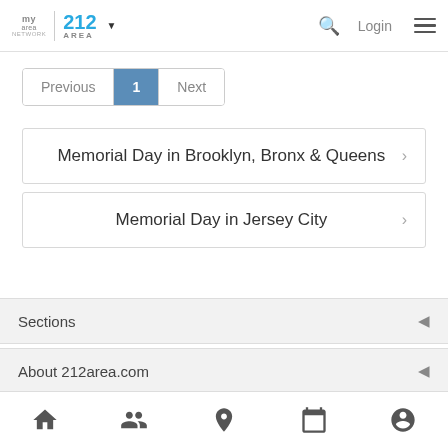my area network | 212 AREA | Login
Previous 1 Next
Memorial Day in Brooklyn, Bronx & Queens
Memorial Day in Jersey City
Sections
About 212area.com
Home | People | Location | Calendar | Profile